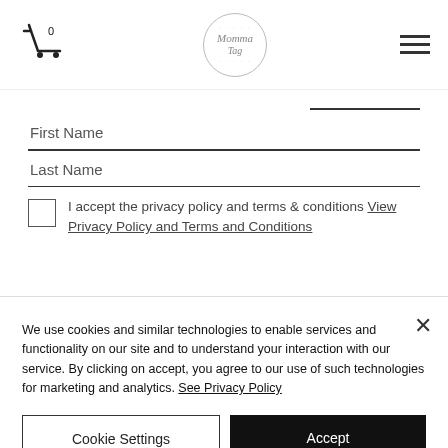[Figure (screenshot): Navigation bar with cart icon (showing 0), circular logo with 'Momma Tag' text, and hamburger menu icon]
First Name
Last Name
I accept the privacy policy and terms & conditions View Privacy Policy and Terms and Conditions
We use cookies and similar technologies to enable services and functionality on our site and to understand your interaction with our service. By clicking on accept, you agree to our use of such technologies for marketing and analytics. See Privacy Policy
Cookie Settings
Accept